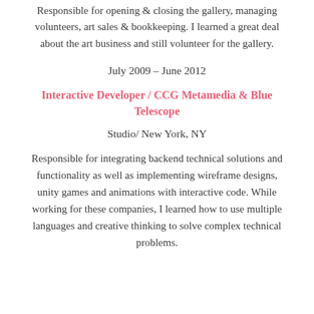Responsible for opening & closing the gallery, managing volunteers, art sales & bookkeeping. I learned a great deal about the art business and still volunteer for the gallery.
July 2009 – June 2012
Interactive Developer / CCG Metamedia & Blue Telescope
Studio/ New York, NY
Responsible for integrating backend technical solutions and functionality as well as implementing wireframe designs, unity games and animations with interactive code. While working for these companies, I learned how to use multiple languages and creative thinking to solve complex technical problems.